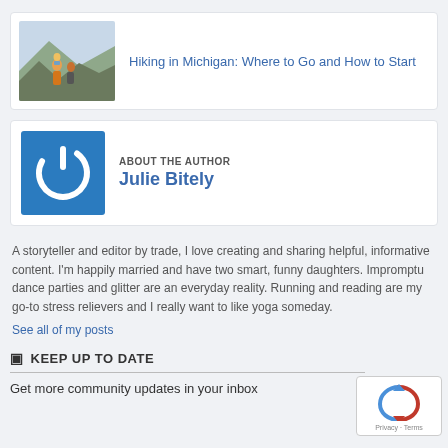[Figure (photo): A card showing a hiking photo with a family outdoors on a rocky trail]
Hiking in Michigan: Where to Go and How to Start
[Figure (logo): Blue square icon with a white power button symbol]
ABOUT THE AUTHOR
Julie Bitely
A storyteller and editor by trade, I love creating and sharing helpful, informative content. I'm happily married and have two smart, funny daughters. Impromptu dance parties and glitter are an everyday reality. Running and reading are my go-to stress relievers and I really want to like yoga someday.
See all of my posts
KEEP UP TO DATE
Get more community updates in your inbox